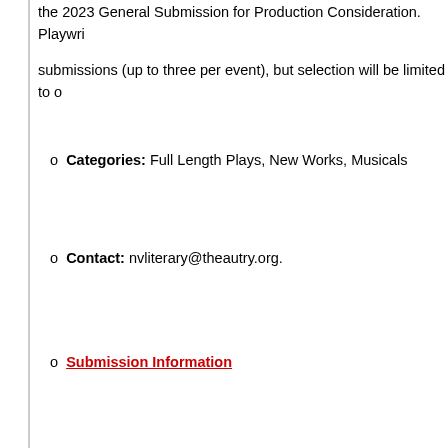the 2023 General Submission for Production Consideration. Playwri
submissions (up to three per event), but selection will be limited to o
Categories: Full Length Plays, New Works, Musicals
Contact: nvliterary@theautry.org.
Submission Information
The Rep New Works Festival
Currently, we accept full-length play submissions for season consideration ar
Deadline: Ongoing
Application Fee: Free
Eligibility: Please email plays to the Artistic team with the subject